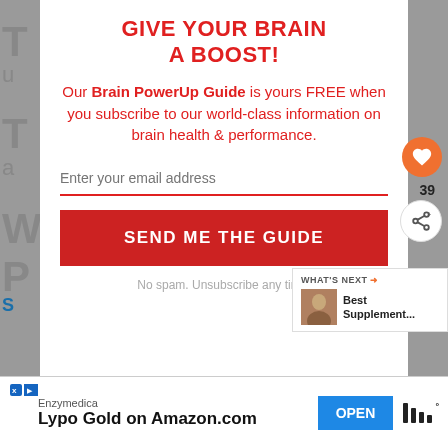GIVE YOUR BRAIN A BOOST!
Our Brain PowerUp Guide is yours FREE when you subscribe to our world-class information on brain health & performance.
Enter your email address
SEND ME THE GUIDE
No spam. Unsubscribe any time.
[Figure (screenshot): What's Next panel showing Best Supplement... with thumbnail of a person]
Enzymedica
Lypo Gold on Amazon.com
OPEN